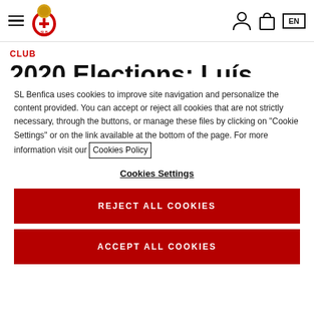SL Benfica website header with hamburger menu, logo, user icon, cart icon, EN language button
CLUB
2020 Elections: Luís Filipe Vieira re-elect
SL Benfica uses cookies to improve site navigation and personalize the content provided. You can accept or reject all cookies that are not strictly necessary, through the buttons, or manage these files by clicking on "Cookie Settings" or on the link available at the bottom of the page. For more information visit our Cookies Policy
Cookies Settings
REJECT ALL COOKIES
ACCEPT ALL COOKIES